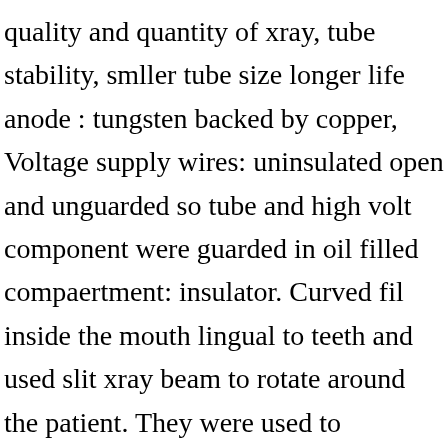quality and quantity of xray, tube stability, smller tube size longer life anode : tungsten backed by copper, Voltage supply wires: uninsulated open and unguarded so tube and high volt component were guarded in oil filled compaertment: insulator. Curved fil inside the mouth lingual to teeth and used slit xray beam to rotate around the patient. They were used to demonstrate the power of atmospheric pressure. See our User Agreement and Privacy Policy. LOGO < 1950s 1896 – Antoine-Henri Becquerel discovers Radioactivity